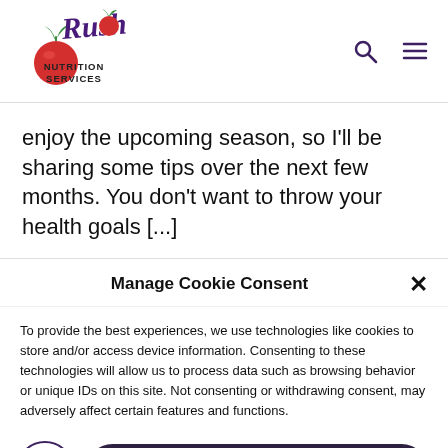[Figure (logo): Rush Nutrition Services logo with stylized script 'Rush' text, tomato graphic, and 'NUTRITION SERVICES' text beneath]
enjoy the upcoming season, so I'll be sharing some tips over the next few months. You don't want to throw your health goals [...]
Manage Cookie Consent
To provide the best experiences, we use technologies like cookies to store and/or access device information. Consenting to these technologies will allow us to process data such as browsing behavior or unique IDs on this site. Not consenting or withdrawing consent, may adversely affect certain features and functions.
Accept